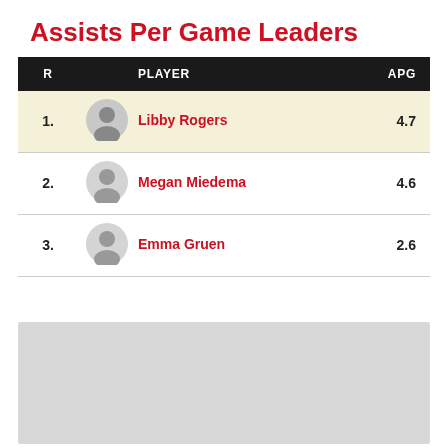Assists Per Game Leaders
| R | PLAYER | APG |
| --- | --- | --- |
| 1. | Libby Rogers | 4.7 |
| 2. | Megan Miedema | 4.6 |
| 3. | Emma Gruen | 2.6 |
[Figure (illustration): Gray placeholder rectangle at the bottom of the page]